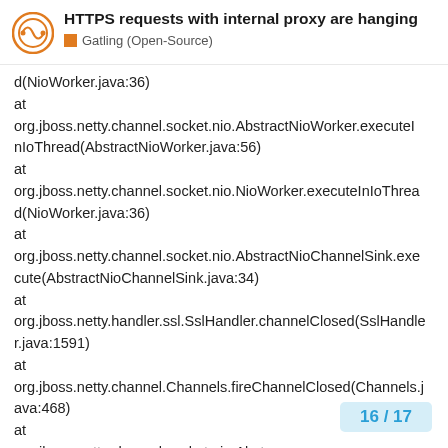HTTPS requests with internal proxy are hanging
Gatling (Open-Source)
d(NioWorker.java:36)
at
org.jboss.netty.channel.socket.nio.AbstractNioWorker.executeInIoThread(AbstractNioWorker.java:56)
at
org.jboss.netty.channel.socket.nio.NioWorker.executeInIoThread(NioWorker.java:36)
at
org.jboss.netty.channel.socket.nio.AbstractNioChannelSink.execute(AbstractNioChannelSink.java:34)
at
org.jboss.netty.handler.ssl.SslHandler.channelClosed(SslHandler.java:1591)
at
org.jboss.netty.channel.Channels.fireChannelClosed(Channels.java:468)
at
org.jboss.netty.channel.socket.nio.AbstractNioWorker.java:375)
16 / 17